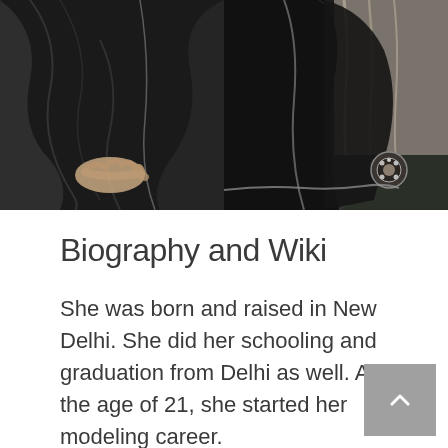[Figure (photo): Two side-by-side photos of a woman wearing a black sari/saree. Left photo shows close-up of the sari fabric with a hand visible. Right photo shows a wider view of the sari with decorative brooch detail and a light curtain in the background.]
Biography and Wiki
She was born and raised in New Delhi. She did her schooling and graduation from Delhi as well. At the age of 21, she started her modeling career.